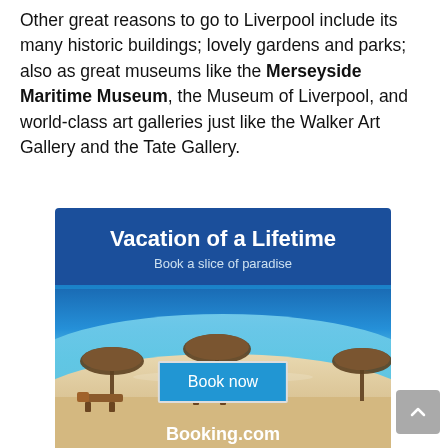Other great reasons to go to Liverpool include its many historic buildings; lovely gardens and parks; also as great museums like the Merseyside Maritime Museum, the Museum of Liverpool, and world-class art galleries just like the Walker Art Gallery and the Tate Gallery.
[Figure (infographic): Booking.com advertisement banner showing 'Vacation of a Lifetime' with beach scene, thatched umbrellas, lounge chairs, turquoise water, a 'Book now' button, and Booking.com logo]